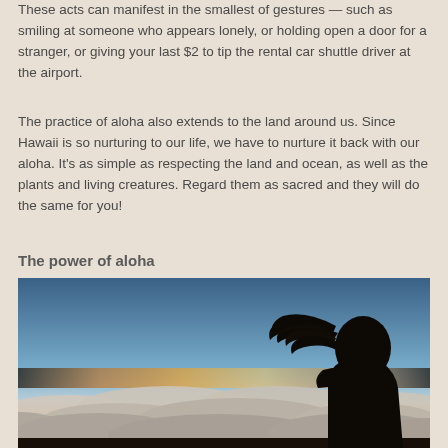These acts can manifest in the smallest of gestures — such as smiling at someone who appears lonely, or holding open a door for a stranger, or giving your last $2 to tip the rental car shuttle driver at the airport.
The practice of aloha also extends to the land around us. Since Hawaii is so nurturing to our life, we have to nurture it back with our aloha. It's as simple as respecting the land and ocean, as well as the plants and living creatures. Regard them as sacred and they will do the same for you!
The power of aloha
[Figure (photo): Silhouette of a person with wind-blown hair viewed from behind, overlooking a sea of clouds at sunset with orange and blue sky, taken from a high mountain viewpoint.]